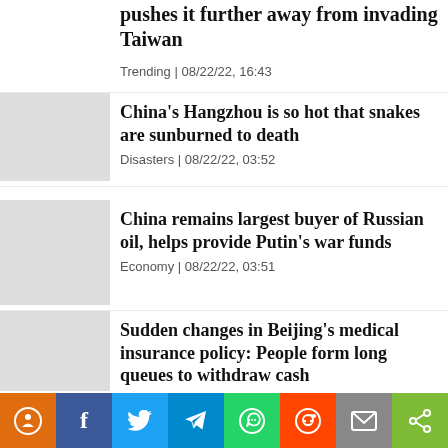pushes it further away from invading Taiwan
Trending | 08/22/22, 16:43
China's Hangzhou is so hot that snakes are sunburned to death
Disasters | 08/22/22, 03:52
China remains largest buyer of Russian oil, helps provide Putin's war funds
Economy | 08/22/22, 03:51
Sudden changes in Beijing's medical insurance policy: People form long queues to withdraw cash
Social problem | 08/22/22, 03:23
[Figure (other): Social media sharing bar with icons: orange (location/notification), Facebook, Twitter, Telegram, WhatsApp, Reddit, Email, Share, and partial text]